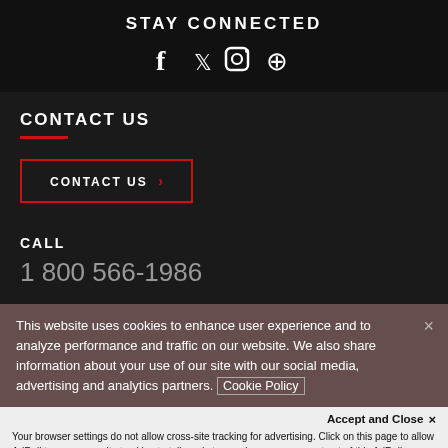STAY CONNECTED
[Figure (infographic): Social media icons: Facebook, Twitter, Instagram, Pinterest in white on black background]
CONTACT US
CONTACT US >
CALL
1 800 566-1986
This website uses cookies to enhance user experience and to analyze performance and traffic on our website. We also share information about your use of our site with our social media, advertising and analytics partners. Cookie Policy
Accept and Close ×
Your browser settings do not allow cross-site tracking for advertising. Click on this page to allow AdRoll to use cross-site tracking to tailor ads to you. Learn more or opt out of this AdRoll tracking by clicking here. This message only appears once.